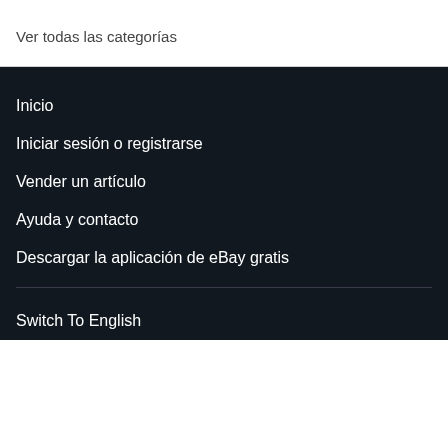Ver todas las categorías
Inicio
Iniciar sesión o registrarse
Vender un artículo
Ayuda y contacto
Descargar la aplicación de eBay gratis
Switch To English